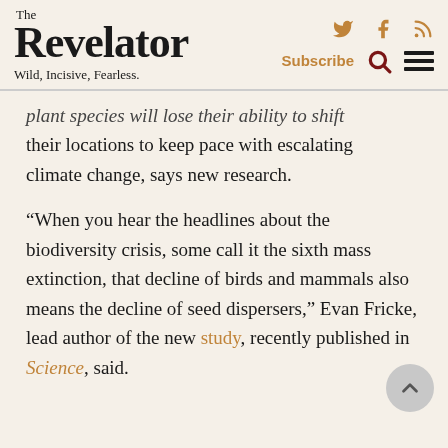The Revelator — Wild, Incisive, Fearless.
plant species will lose their ability to shift their locations to keep pace with escalating climate change, says new research.
“When you hear the headlines about the biodiversity crisis, some call it the sixth mass extinction, that decline of birds and mammals also means the decline of seed dispersers,” Evan Fricke, lead author of the new study, recently published in Science, said.